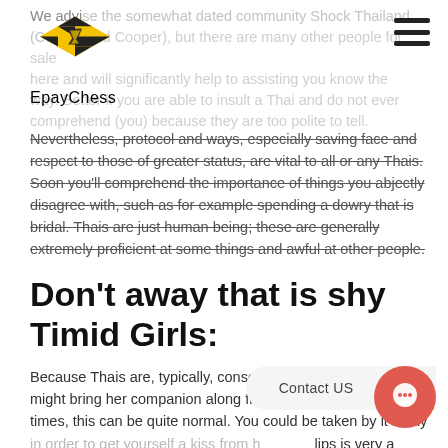EpayChess
We advise the somewhat dated community Shock Thailand (Cooper and Cooper), but there are many other people for sale here and will significantly help to assisting you know the way. Better if you are able to insult a Thai and do not ever comprehend (you) because they are too polite to tell.
Nevertheless, protocol and ways, especially saving face and respect to those of greater status, are vital to all or any Thais. Soon you'll comprehend the importance of things you abjectly disagree with, such as for example spending a dowry that is bridal. Thais are just human being; these are generally extremely proficient at some things and awful at other people.
Don't away that is shy Timid Girls:
Because Thais are, typically, conservative and shy. A lady might bring her companion along from the very first handful of times, this can be quite normal. You could be taken by it many in order to get yourself a kiss from her; from lips is very a fresh intimate action for Thais and a 'sniff kiss' will be regarded as a rather affectionate gesture. Keeping fingers in public place is taboo; closeness is a thing that comes much